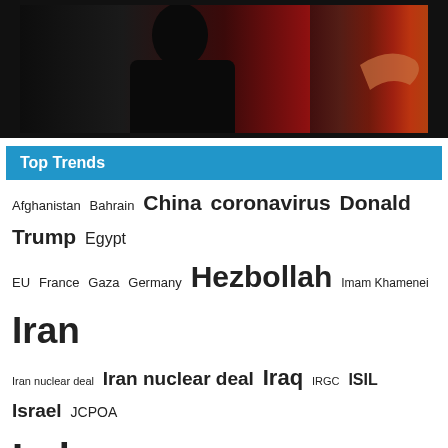[Figure (photo): Partial view of a person in dark robes against a red background]
Top Trends
Afghanistan Bahrain China coronavirus Donald Trump Egypt EU France Gaza Germany Hezbollah Imam Khamenei Iran Iran nuclear deal Iran nuclear deal Iraq IRGC ISIL Israel JCPOA Lebanon Lebanon Politics NATO North Korea Palestine Palestinian cause Qatar Russia Saudi Saudi Arabia Saudi war on Yemen Sayyed Nasrallah Syria Syria crisis Syrian Army Turkey UAE UK Ukraine UN United States US Yemen Zarif Zionist entity